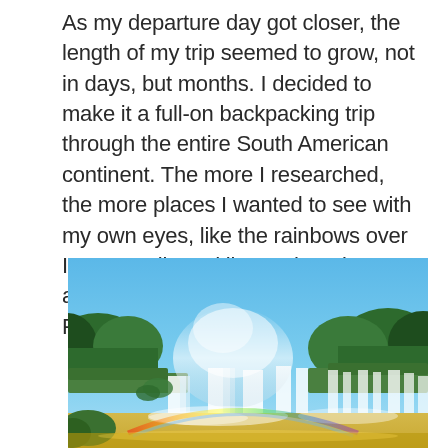As my departure day got closer, the length of my trip seemed to grow, not in days, but months. I decided to make it a full-on backpacking trip through the entire South American continent. The more I researched, the more places I wanted to see with my own eyes, like the rainbows over Iguazu Falls and llamas hanging out amongst the Inca ruins of Machu Picchu.
[Figure (photo): Photograph of Iguazu Falls showing wide cascading waterfalls with mist rising into a blue sky, dense green jungle on either side, and a rainbow visible at the bottom of the falls.]